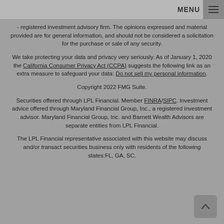MENU
- registered investment advisory firm. The opinions expressed and material provided are for general information, and should not be considered a solicitation for the purchase or sale of any security.
We take protecting your data and privacy very seriously. As of January 1, 2020 the California Consumer Privacy Act (CCPA) suggests the following link as an extra measure to safeguard your data: Do not sell my personal information.
Copyright 2022 FMG Suite.
Securities offered through LPL Financial. Member FINRA/SIPC. Investment advice offered through Maryland Financial Group, Inc., a registered investment advisor. Maryland Financial Group, Inc. and Barnett Wealth Advisors are separate entities from LPL Financial.
The LPL Financial representative associated with this website may discuss and/or transact securities business only with residents of the following states:FL, GA, SC.